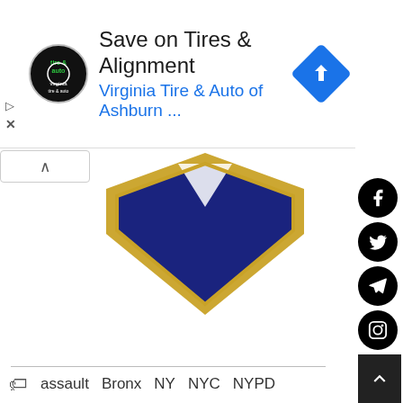[Figure (screenshot): Advertisement banner for Virginia Tire & Auto of Ashburn with logo, text 'Save on Tires & Alignment', 'Virginia Tire & Auto of Ashburn ...', and navigation icon.]
[Figure (illustration): Partial NYPD shield/badge with navy blue and gold colors visible at top center of page.]
assault   Bronx   NY   NYC   NYPD
[Figure (illustration): Author avatar: circular portrait of Jonas Bronck in historical engraving style.]
Publisher
Jonas Bronck
[Figure (infographic): Social media share buttons sidebar: Facebook, Twitter, Telegram, Instagram, YouTube, TikTok, Email, Phone. Plus bottom scroll-up arrow button.]